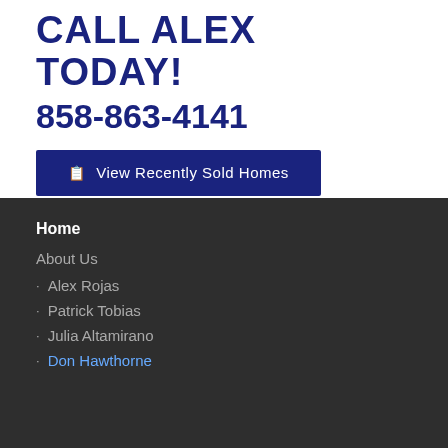CALL ALEX TODAY!
858-863-4141
View Recently Sold Homes
Home
About Us
Alex Rojas
Patrick Tobias
Julia Altamirano
Don Hawthorne